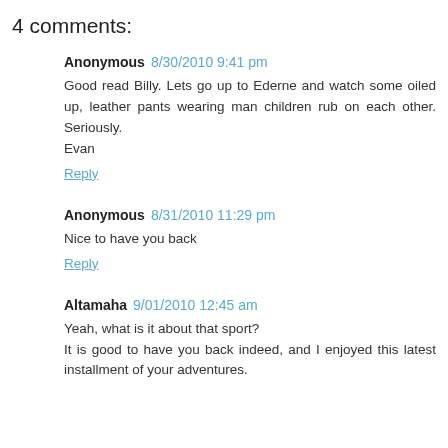4 comments:
Anonymous 8/30/2010 9:41 pm
Good read Billy. Lets go up to Ederne and watch some oiled up, leather pants wearing man children rub on each other. Seriously.
Evan
Reply
Anonymous 8/31/2010 11:29 pm
Nice to have you back
Reply
Altamaha 9/01/2010 12:45 am
Yeah, what is it about that sport?
It is good to have you back indeed, and I enjoyed this latest installment of your adventures.